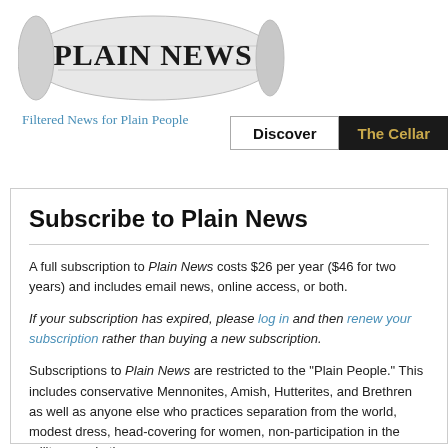[Figure (logo): Plain News rolled newspaper logo with 'PLAIN NEWS' text]
Filtered News for Plain People
[Figure (screenshot): Navigation bar with 'Discover' and 'The Cellar' buttons]
Subscribe to Plain News
A full subscription to Plain News costs $26 per year ($46 for two years) and includes email news, online access, or both.
If your subscription has expired, please log in and then renew your subscription rather than buying a new subscription.
Subscriptions to Plain News are restricted to the "Plain People." This includes conservative Mennonites, Amish, Hutterites, and Brethren as well as anyone else who practices separation from the world, modest dress, head-covering for women, non-participation in the military, and other